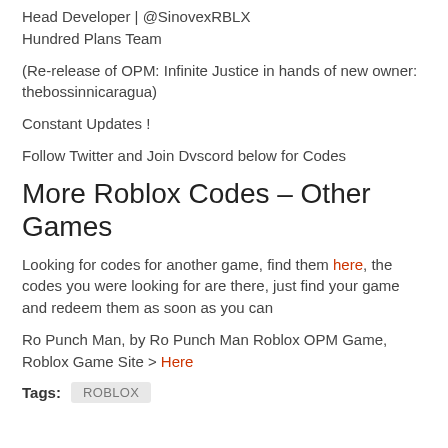Head Developer | @SinovexRBLX
Hundred Plans Team
(Re-release of OPM: Infinite Justice in hands of new owner: thebossinnicaragua)
Constant Updates !
Follow Twitter and Join Dvscord below for Codes
More Roblox Codes – Other Games
Looking for codes for another game, find them here, the codes you were looking for are there, just find your game and redeem them as soon as you can
Ro Punch Man, by Ro Punch Man Roblox OPM Game, Roblox Game Site > Here
Tags: ROBLOX